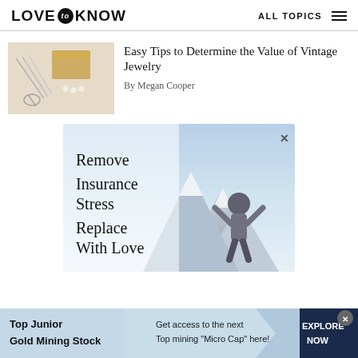LOVE to KNOW    ALL TOPICS
[Figure (photo): Vintage jewelry box with pearls, tools, scissors on white background]
Easy Tips to Determine the Value of Vintage Jewelry
By Megan Cooper
[Figure (photo): Advertisement: Remove Insurance Stress Replace With Love - person sitting on mountain top with arms raised]
[Figure (infographic): Bottom banner ad: Top Junior Gold Mining Stock - Get access to the next Top mining 'Micro Cap' here! - EXPLORE NOW]